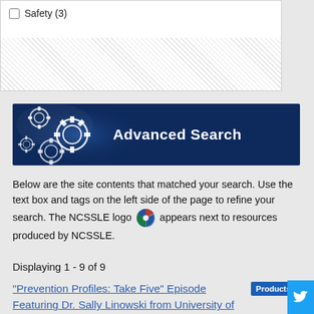Safety (3)
[Figure (screenshot): Advanced Search banner with gear icons on dark navy blue background]
Below are the site contents that matched your search. Use the text box and tags on the left side of the page to refine your search. The NCSSLE logo appears next to resources produced by NCSSLE.
Displaying 1 - 9 of 9
"Prevention Profiles: Take Five" Episode Featuring Dr. Sally Linowski from University of Massachusetts Amherst
Features Dr. Sally Linowski from the University of Massachusetts Amherst. Linowski, an Associate Dean of Students, as well as an adjunct assistant professor at th